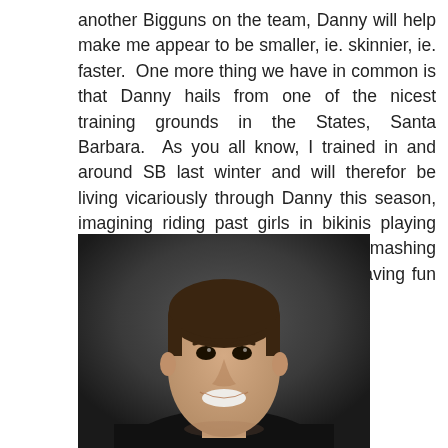another Bigguns on the team, Danny will help make me appear to be smaller, ie. skinnier, ie. faster.  One more thing we have in common is that Danny hails from one of the nicest training grounds in the States, Santa Barbara.  As you all know, I trained in and around SB last winter and will therefor be living vicariously through Danny this season, imagining riding past girls in bikinis playing volleyball, picking oranges off trees, smashing the SB Worlds ride, and generally having fun in the sun all day long.
[Figure (photo): Headshot portrait of a young man with short dark hair, smiling, wearing a dark suit, against a dark grey background.]